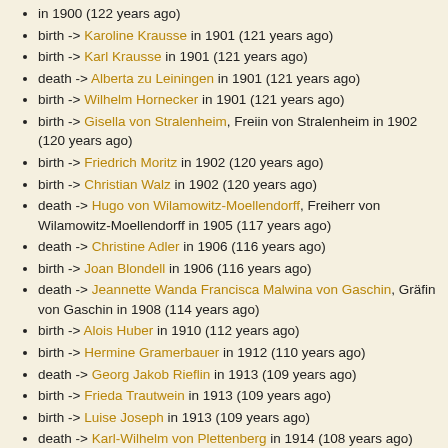in 1900 (122 years ago)
birth -> Karoline Krausse in 1901 (121 years ago)
birth -> Karl Krausse in 1901 (121 years ago)
death -> Alberta zu Leiningen in 1901 (121 years ago)
birth -> Wilhelm Hornecker in 1901 (121 years ago)
birth -> Gisella von Stralenheim, Freiin von Stralenheim in 1902 (120 years ago)
birth -> Friedrich Moritz in 1902 (120 years ago)
birth -> Christian Walz in 1902 (120 years ago)
death -> Hugo von Wilamowitz-Moellendorff, Freiherr von Wilamowitz-Moellendorff in 1905 (117 years ago)
death -> Christine Adler in 1906 (116 years ago)
birth -> Joan Blondell in 1906 (116 years ago)
death -> Jeannette Wanda Francisca Malwina von Gaschin, Gräfin von Gaschin in 1908 (114 years ago)
birth -> Alois Huber in 1910 (112 years ago)
birth -> Hermine Gramerbauer in 1912 (110 years ago)
death -> Georg Jakob Rieflin in 1913 (109 years ago)
birth -> Frieda Trautwein in 1913 (109 years ago)
birth -> Luise Joseph in 1913 (109 years ago)
death -> Karl-Wilhelm von Plettenberg in 1914 (108 years ago)
birth -> Lilian May Davies, Prinzessin von Schweden in 1915 (107 years ago)
death -> Wilhelm Friedrich Jenne in 1917 (105 years ago)
birth -> Wladimir Kirillowitsch Romanow in 1917 (105 years ago)